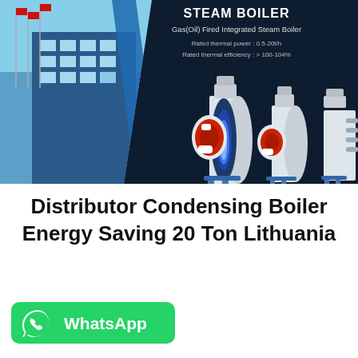[Figure (illustration): Dark navy banner with steam boiler product advertisement. Left side shows a modern industrial building with flag poles. Right side shows three gas/oil fired integrated steam boilers in white casing with blue and red details. Top right has product title 'STEAM BOILER', subtitle 'Gas(Oil) Fired Integrated Steam Boiler', rated thermal power 0.5-20t/h and thermal efficiency >100-104%.]
Distributor Condensing Boiler Energy Saving 20 Ton Lithuania
[Figure (logo): WhatsApp green button with WhatsApp phone icon and text 'WhatsApp']